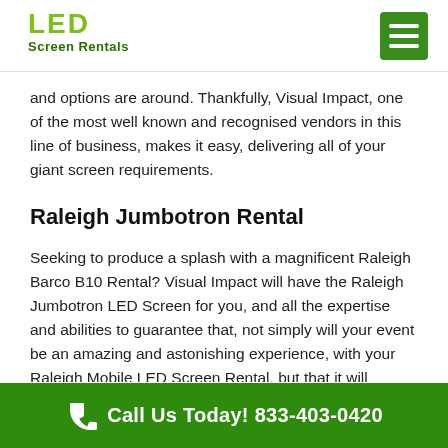[Figure (logo): LED Screen Rentals logo with green stylized text]
and options are around. Thankfully, Visual Impact, one of the most well known and recognised vendors in this line of business, makes it easy, delivering all of your giant screen requirements.
Raleigh Jumbotron Rental
Seeking to produce a splash with a magnificent Raleigh Barco B10 Rental? Visual Impact will have the Raleigh Jumbotron LED Screen for you, and all the expertise and abilities to guarantee that, not simply will your event be an amazing and astonishing experience, with your Raleigh Mobile LED Screen Rental, but that it will happen without a
Call Us Today! 833-403-0420